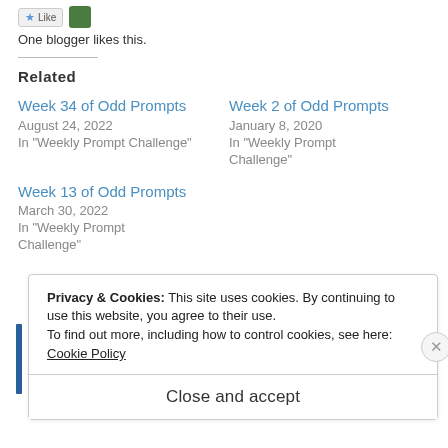One blogger likes this.
Related
Week 34 of Odd Prompts
August 24, 2022
In "Weekly Prompt Challenge"
Week 2 of Odd Prompts
January 8, 2020
In "Weekly Prompt Challenge"
Week 13 of Odd Prompts
March 30, 2022
In "Weekly Prompt Challenge"
Privacy & Cookies: This site uses cookies. By continuing to use this website, you agree to their use.
To find out more, including how to control cookies, see here:
Cookie Policy
Close and accept